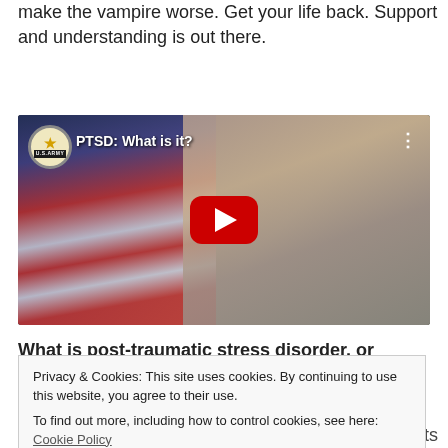make the vampire worse. Get your life back. Support and understanding is out there.
[Figure (screenshot): YouTube video thumbnail with title 'PTSD: What is it?' showing a US Army channel. A woman in military uniform is in front of an American flag. Large red YouTube play button in center.]
What is post-traumatic stress disorder, or
Privacy & Cookies: This site uses cookies. By continuing to use this website, you agree to their use.
To find out more, including how to control cookies, see here: Cookie Policy
stressed and afraid after the danger is over. It affects